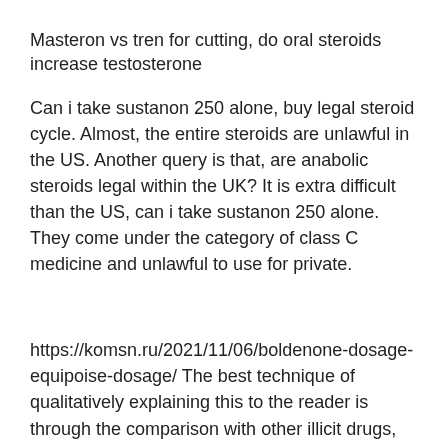Masteron vs tren for cutting, do oral steroids increase testosterone
Can i take sustanon 250 alone, buy legal steroid cycle. Almost, the entire steroids are unlawful in the US. Another query is that, are anabolic steroids legal within the UK? It is extra difficult than the US, can i take sustanon 250 alone. They come under the category of class C medicine and unlawful to use for private.
https://komsn.ru/2021/11/06/boldenone-dosage-equipoise-dosage/ The best technique of qualitatively explaining this to the reader is through the comparison with other illicit drugs, similar to cocaine or heroin, can i take sustanon 250 alone.